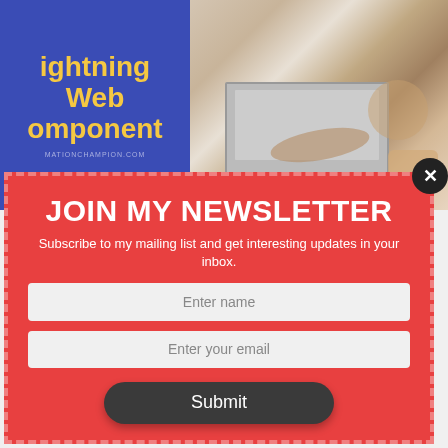[Figure (illustration): Blue book cover on left showing 'Lightning Web Component' text in yellow with blue background and website URL at bottom. On the right is a photo of a person typing on a laptop at a kitchen counter with food in background.]
JOIN MY NEWSLETTER
Subscribe to my mailing list and get interesting updates in your inbox.
Enter name
Enter your email
Submit